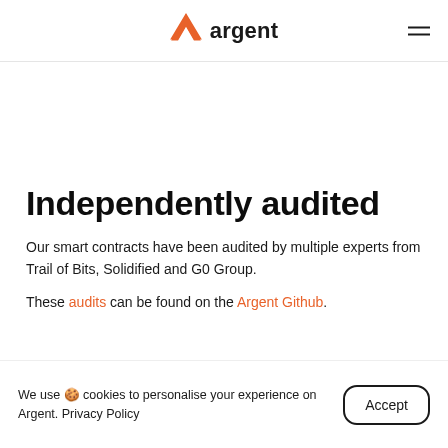argent
Independently audited
Our smart contracts have been audited by multiple experts from Trail of Bits, Solidified and G0 Group.
These audits can be found on the Argent Github.
We use 🍪 cookies to personalise your experience on Argent. Privacy Policy